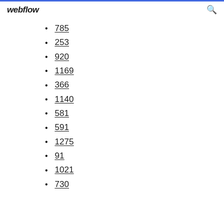webflow
785
253
920
1169
366
1140
581
591
1275
91
1021
730